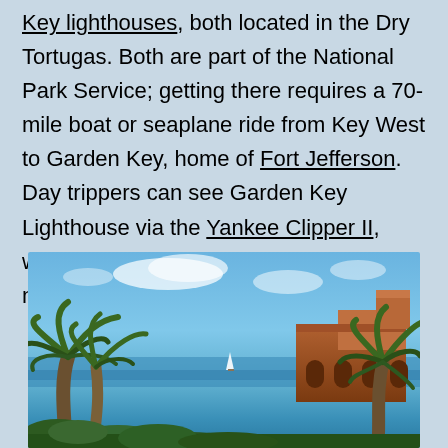Key lighthouses, both located in the Dry Tortugas. Both are part of the National Park Service; getting there requires a 70-mile boat or seaplane ride from Key West to Garden Key, home of Fort Jefferson. Day trippers can see Garden Key Lighthouse via the Yankee Clipper II, which leaves Key West Bight every morning for a full-day adventure.
[Figure (photo): Photograph of palm trees and the brick walls of Fort Jefferson at Dry Tortugas, with blue sky and ocean water in the background.]